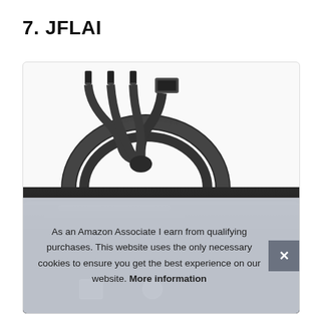7. JFLAI
[Figure (photo): Product image showing a black braided multi-USB charging cable (3-in-1 with USB-A, USB-C, and other connectors) coiled in a circle, displayed on a light gray background. Below it, partially visible, is a black dog collar/harness with straps and hardware.]
As an Amazon Associate I earn from qualifying purchases. This website uses the only necessary cookies to ensure you get the best experience on our website. More information